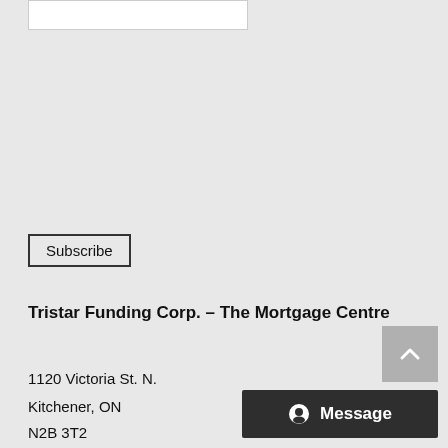[Figure (other): White input/search bar at top of page]
Subscribe
Tristar Funding Corp. – The Mortgage Centre
1120 Victoria St. N.
Kitchener, ON
N2B 3T2
[Figure (other): Gray scroll-to-top button with upward chevron arrow]
[Figure (other): Dark Message button with alien/chat icon]